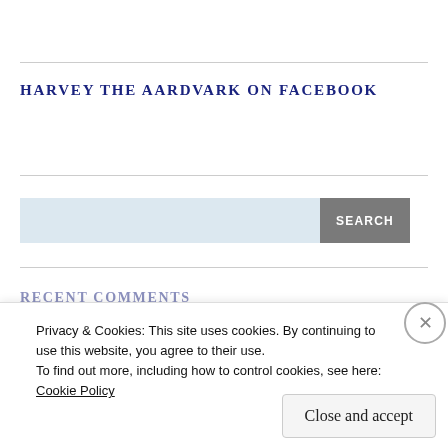HARVEY THE AARDVARK ON FACEBOOK
Search bar with SEARCH button
Privacy & Cookies: This site uses cookies. By continuing to use this website, you agree to their use.
To find out more, including how to control cookies, see here:
Cookie Policy
Close and accept